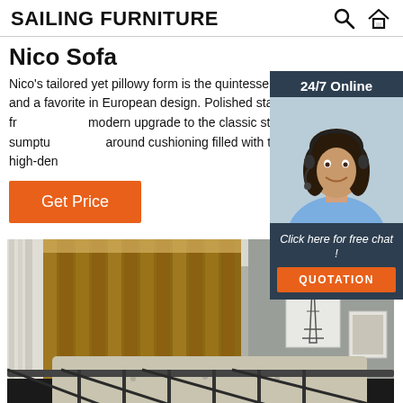SAILING FURNITURE
Nico Sofa
Nico's tailored yet pillowy form is the quintessence of luxury and a favorite in European design. Polished stainless steel fr... modern upgrade to the classic style. Enjoy the sumptu... around cushioning filled with three layers of high-den...
[Figure (screenshot): 24/7 Online chat widget with female agent wearing headset, and a 'Click here for free chat!' message with QUOTATION button]
[Figure (photo): Interior bedroom scene with wooden vertical blinds, curtains, wall art featuring Eiffel Tower, and a bed frame with upholstered headboard visible at bottom]
Get Price
Click here for free chat !
QUOTATION